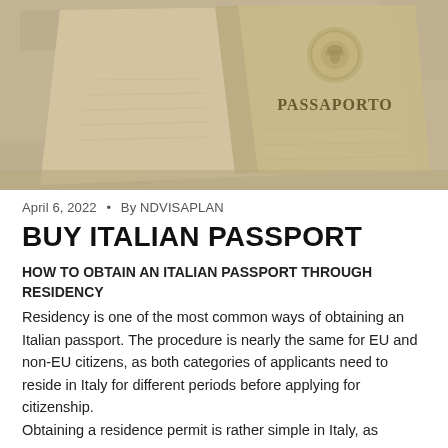[Figure (photo): Open Italian passport showing the cover page with 'PASSAPORTO' text and Republic of Italy emblem, resting on a granite surface.]
April 6, 2022  •  By NDVISAPLAN
BUY ITALIAN PASSPORT
HOW TO OBTAIN AN ITALIAN PASSPORT THROUGH RESIDENCY
Residency is one of the most common ways of obtaining an Italian passport. The procedure is nearly the same for EU and non-EU citizens, as both categories of applicants need to reside in Italy for different periods before applying for citizenship.
Obtaining a residence permit is rather simple in Italy, as